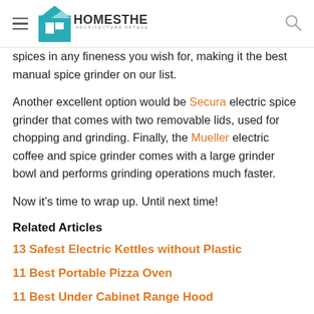Homesthetics — Architecture Art & Design
spices in any fineness you wish for, making it the best manual spice grinder on our list.
Another excellent option would be Secura electric spice grinder that comes with two removable lids, used for chopping and grinding. Finally, the Mueller electric coffee and spice grinder comes with a large grinder bowl and performs grinding operations much faster.
Now it’s time to wrap up. Until next time!
Related Articles
13 Safest Electric Kettles without Plastic
11 Best Portable Pizza Oven
11 Best Under Cabinet Range Hood